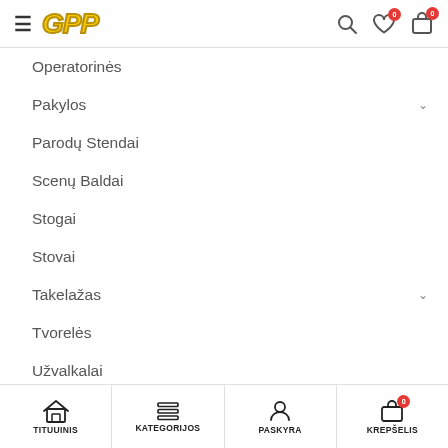GPP — navigation header with search, wishlist (0), cart (0)
Operatorinės
Pakylos
Parodų Stendai
Scenų Baldai
Stogai
Stovai
Takelažas
Tvorelės
Užvalkalai
Vežimėliai
Transportavimo dėžės
TITUUINIS | KATEGORIJOS | PASKYRA | KREPŠELIS